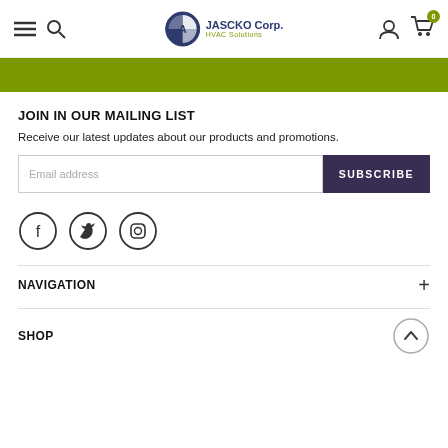JASCKO Corp. HVAC Solutions
[Figure (illustration): Olive green banner bar beneath the header navigation]
JOIN IN OUR MAILING LIST
Receive our latest updates about our products and promotions.
Email address [input field] SUBSCRIBE [button]
[Figure (illustration): Social media icons: Facebook, Twitter, Instagram in circle outlines]
NAVIGATION
SHOP